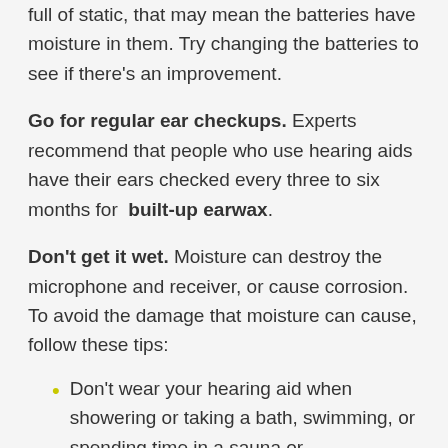full of static, that may mean the batteries have moisture in them. Try changing the batteries to see if there's an improvement.
Go for regular ear checkups. Experts recommend that people who use hearing aids have their ears checked every three to six months for built-up earwax.
Don't get it wet. Moisture can destroy the microphone and receiver, or cause corrosion. To avoid the damage that moisture can cause, follow these tips:
Don't wear your hearing aid when showering or taking a bath, swimming, or spending time in a sauna or